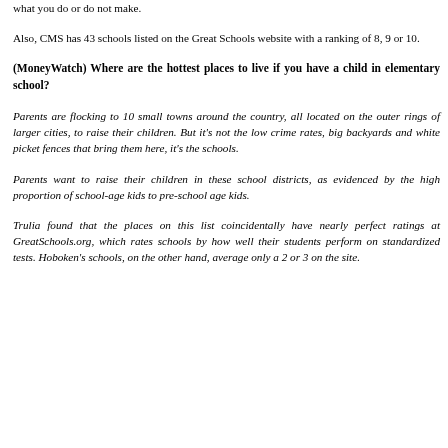what you do or do not make.
Also, CMS has 43 schools listed on the Great Schools website with a ranking of 8, 9 or 10.
(MoneyWatch) Where are the hottest places to live if you have a child in elementary school?
Parents are flocking to 10 small towns around the country, all located on the outer rings of larger cities, to raise their children. But it's not the low crime rates, big backyards and white picket fences that bring them here, it's the schools.
Parents want to raise their children in these school districts, as evidenced by the high proportion of school-age kids to pre-school age kids.
Trulia found that the places on this list coincidentally have nearly perfect ratings at GreatSchools.org, which rates schools by how well their students perform on standardized tests. Hoboken's schools, on the other hand, average only a 2 or 3 on the site.